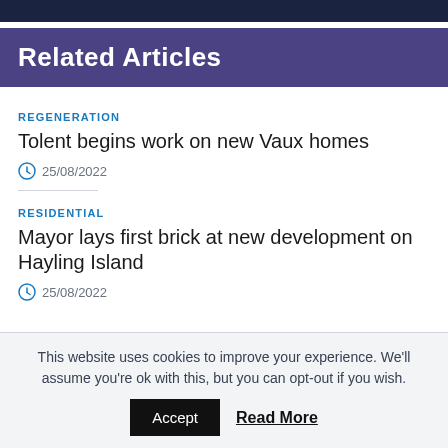Related Articles
REGENERATION
Tolent begins work on new Vaux homes
25/08/2022
RESIDENTIAL
Mayor lays first brick at new development on Hayling Island
25/08/2022
This website uses cookies to improve your experience. We'll assume you're ok with this, but you can opt-out if you wish.
Accept
Read More